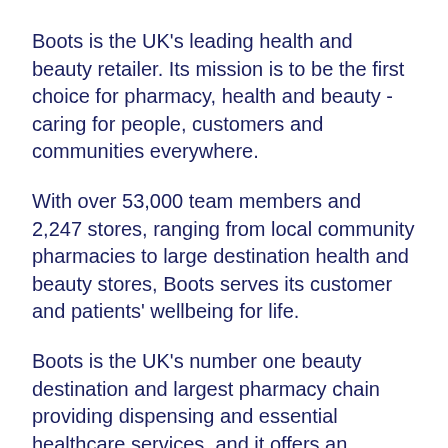Boots is the UK's leading health and beauty retailer. Its mission is to be the first choice for pharmacy, health and beauty - caring for people, customers and communities everywhere.
With over 53,000 team members and 2,247 stores, ranging from local community pharmacies to large destination health and beauty stores, Boots serves its customer and patients' wellbeing for life.
Boots is the UK's number one beauty destination and largest pharmacy chain providing dispensing and essential healthcare services, and it offers an unrivalled depth and breadth of product offering including its innovative portfolio of brands, including No7, the UK's No1 skincare brand, Soap & Glory, Liz Earle, Sleek MakeUP and YourGoodSkin. For over 170...